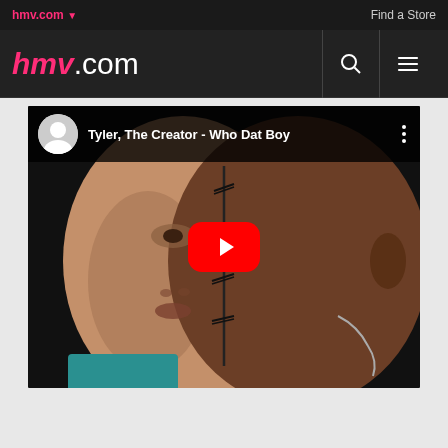hmv.com  Find a Store
hmv.com
[Figure (screenshot): YouTube embedded video player showing 'Tyler, The Creator - Who Dat Boy' music video thumbnail with a close-up of two faces stitched together and a red YouTube play button in the center]